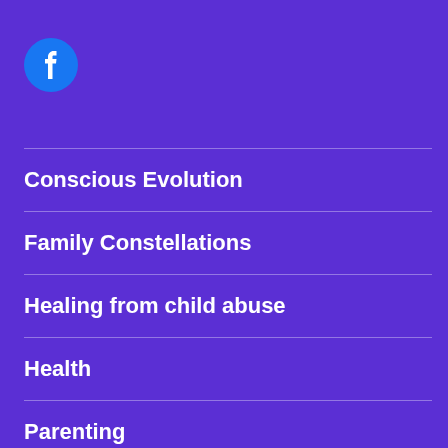[Figure (logo): Facebook logo — blue circle with white 'f' icon]
Conscious Evolution
Family Constellations
Healing from child abuse
Health
Parenting
Personal Development
Relationships